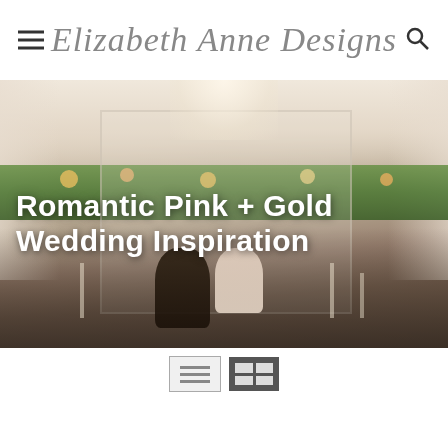Elizabeth Anne Designs
[Figure (photo): Wedding inspiration editorial photo showing a couple at a reception table under an ornate crystal chandelier, with lush greenery garland. Text overlay reads 'Romantic Pink + Gold Wedding Inspiration'.]
Romantic Pink + Gold Wedding Inspiration
[Figure (infographic): View toggle buttons: list view and grid view icons in a toolbar]